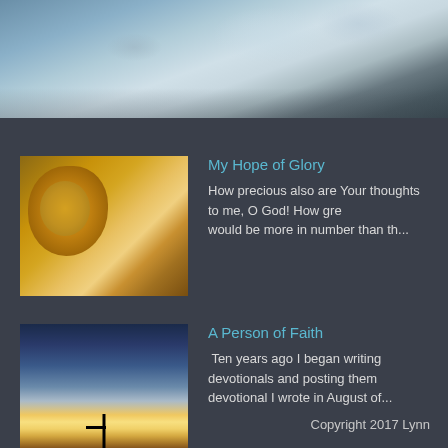[Figure (photo): Hero image showing water/waves scene at top of page]
My Hope of Glory
How precious also are Your thoughts to me, O God! How gre would be more in number than th...
[Figure (photo): Thumbnail image of a lion]
A Person of Faith
Ten years ago I began writing devotionals and posting them devotional I wrote in August of...
[Figure (photo): Thumbnail image of a person with cross silhouette at sunset]
Copyright 2017 Lynn